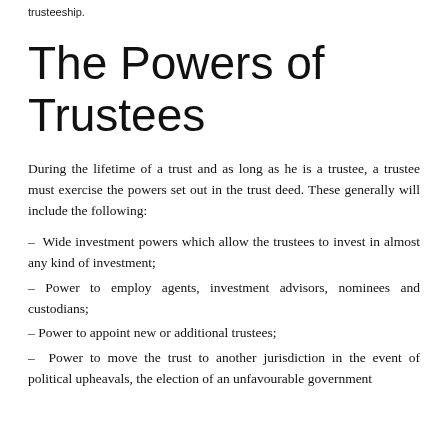trusteeship.
The Powers of Trustees
During the lifetime of a trust and as long as he is a trustee, a trustee must exercise the powers set out in the trust deed. These generally will include the following:
– Wide investment powers which allow the trustees to invest in almost any kind of investment;
– Power to employ agents, investment advisors, nominees and custodians;
– Power to appoint new or additional trustees;
– Power to move the trust to another jurisdiction in the event of political upheavals, the election of an unfavourable government